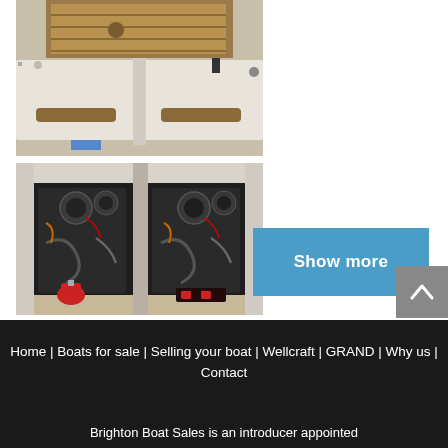[Figure (photo): Boat interior showing cockpit area with white fiberglass surfaces, teak wood accents, cushion storage compartments with brown handles, and folding tables viewed from above]
[Figure (photo): Boat engine compartment showing twin inboard marine engines with black mechanical components, wiring, hoses, and a red fire extinguisher, viewed from above with white fiberglass engine hatch surround]
Show more
Home | Boats for sale | Selling your boat | Wellcraft | GRAND | Why us | Contact

Brighton Boat Sales is an introducer appointed
Brighton Boat Sales is an introducer appointed